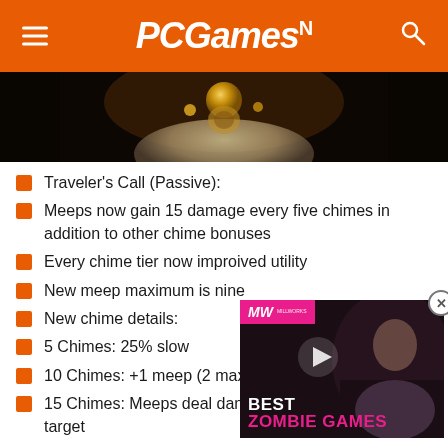PCGamesN
[Figure (illustration): Hero image showing a fantasy game character with a glowing orb, long white beard and golden mask/helmet in a dark atmospheric scene]
Traveler's Call (Passive):
Meeps now gain 15 damage every five chimes in addition to other chime bonuses
Every chime tier now improived utility
New meep maximum is nine
New chime details:
5 Chimes: 25% slow
10 Chimes: +1 meep (2 max)
15 Chimes: Meeps deal damage in a cone behind the target
[Figure (screenshot): Video ad overlay showing Best Zombie Games with MW logo in pink bar, play button, and character image]